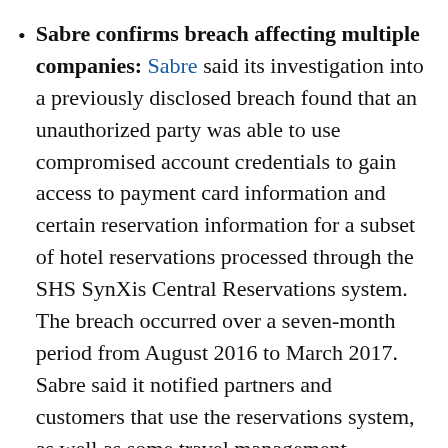Sabre confirms breach affecting multiple companies: Sabre said its investigation into a previously disclosed breach found that an unauthorized party was able to use compromised account credentials to gain access to payment card information and certain reservation information for a subset of hotel reservations processed through the SHS SynXis Central Reservations system. The breach occurred over a seven-month period from August 2016 to March 2017. Sabre said it notified partners and customers that use the reservations system, as well as some travel management companies and travel agencies that booked travelers that may have been affected. Sabre did not